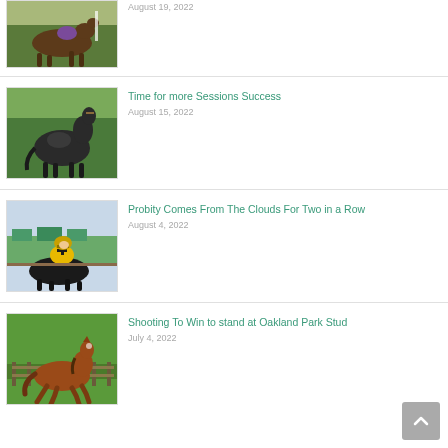[Figure (photo): Partial view of a horse racing with a jockey in purple silks on a green turf course]
August 19, 2022
[Figure (photo): Dark gray/black horse standing in profile in a paddock with green trees in the background]
Time for more Sessions Success
August 15, 2022
[Figure (photo): Jockey in yellow and black cross silks mounted on a dark horse at a race track]
Probity Comes From The Clouds For Two in a Row
August 4, 2022
[Figure (photo): Chestnut horse cantering in a green paddock with a wooden fence in the background]
Shooting To Win to stand at Oakland Park Stud
July 4, 2022